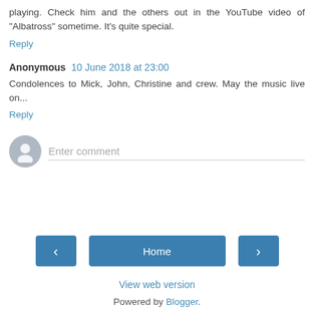playing. Check him and the others out in the YouTube video of "Albatross" sometime. It's quite special.
Reply
Anonymous 10 June 2018 at 23:00
Condolences to Mick, John, Christine and crew. May the music live on...
Reply
[Figure (other): Comment input area with user avatar placeholder and 'Enter comment' text field]
Home
View web version
Powered by Blogger.